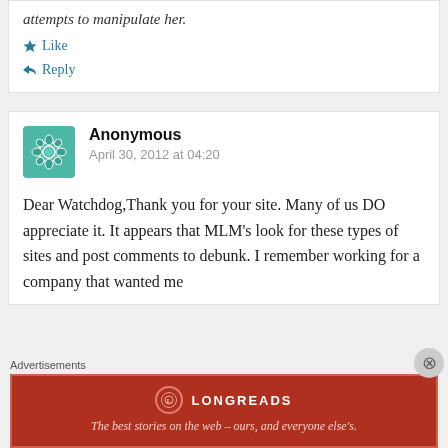attempts to manipulate her.
Like
Reply
Anonymous
April 30, 2012 at 04:20
Dear Watchdog,Thank you for your site. Many of us DO appreciate it. It appears that MLM's look for these types of sites and post comments to debunk. I remember working for a company that wanted me
Advertisements
[Figure (infographic): Longreads advertisement banner: red background with Longreads logo and tagline 'The best stories on the web – ours, and everyone else's.']